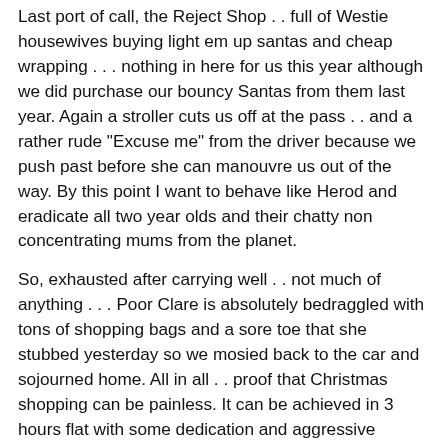Last port of call, the Reject Shop . . full of Westie housewives buying light em up santas and cheap wrapping . . . nothing in here for us this year although we did purchase our bouncy Santas from them last year. Again a stroller cuts us off at the pass . . and a rather rude "Excuse me" from the driver because we push past before she can manouvre us out of the way. By this point I want to behave like Herod and eradicate all two year olds and their chatty non concentrating mums from the planet.
So, exhausted after carrying well . . not much of anything . . . Poor Clare is absolutely bedraggled with tons of shopping bags and a sore toe that she stubbed yesterday so we mosied back to the car and sojourned home. All in all . . proof that Christmas shopping can be painless. It can be achieved in 3 hours flat with some dedication and aggressive shopping, proof that Wendy's hot dogs are still delicious and that sparkly things still attract. I'm done! With the exception of that pesky BabyBro . . . so any ideas what to buy a sporty, musical, fidgetty 48 year old, 6 foot male? Please . . I need some clues.
Addicting the someone to buy and so that rehabilitated...